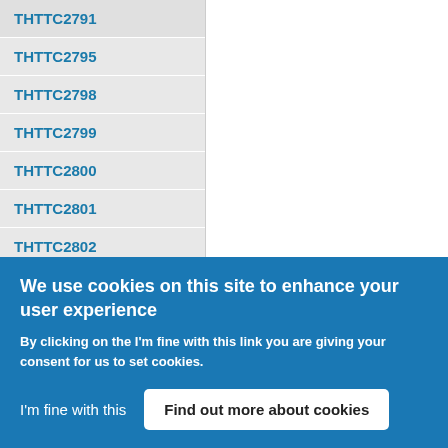THTTC2795
THTTC2798
THTTC2799
THTTC2800
THTTC2801
THTTC2802
THTTC2803
THTTC2804
THTTC2808
We use cookies on this site to enhance your user experience
By clicking on the I'm fine with this link you are giving your consent for us to set cookies.
I'm fine with this
Find out more about cookies